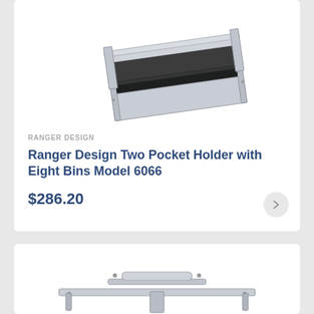[Figure (photo): Product photo of a metal two pocket holder with eight bins, shown at an angle on a white background]
RANGER DESIGN
Ranger Design Two Pocket Holder with Eight Bins Model 6066
$286.20
[Figure (photo): Product photo of a second Ranger Design product, partially visible at bottom of page, appears to be a metal tray or carrier]